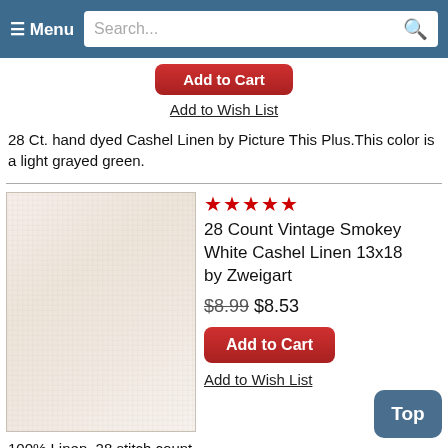☰ Menu  Search...
Add to Cart
Add to Wish List
28 Ct. hand dyed Cashel Linen by Picture This Plus.This color is a light grayed green.
[Figure (photo): Swatch of 28 Count Vintage Smokey White Cashel Linen fabric, off-white/cream colored woven linen texture]
★★★★★
28 Count Vintage Smokey White Cashel Linen 13x18
by Zweigart
$8.99 $8.53
Add to Cart
Add to Wish List
100% Linen, 28 stitch count.
[Figure (photo): Partial swatch of another linen product at bottom of page, with 4-star rating visible]